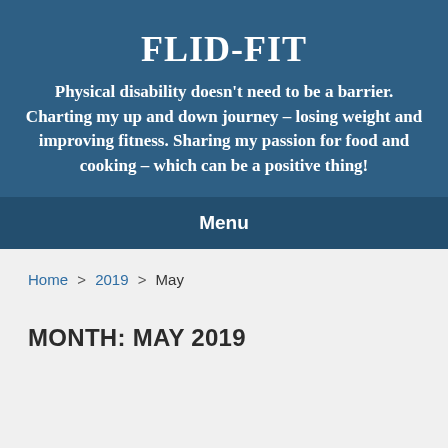FLID-FIT
Physical disability doesn't need to be a barrier. Charting my up and down journey – losing weight and improving fitness. Sharing my passion for food and cooking – which can be a positive thing!
Menu
Home > 2019 > May
MONTH: MAY 2019